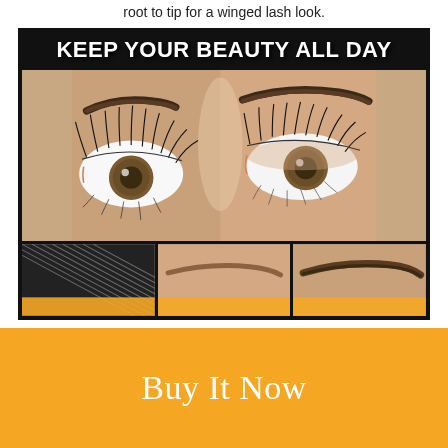root to tip for a winged lash look.
[Figure (photo): Beauty advertisement showing close-up of woman's eyes with dramatic eyelashes and bold eyebrows. Text overlay reads KEEP YOUR BEAUTY ALL DAY. Below are three smaller images: eyelash brush/fiber texture, before eyebrow, after eyebrow.]
Buy It Now